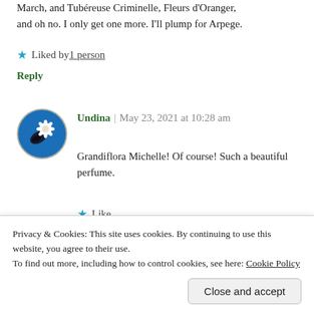March, and Tubéreuse Criminelle, Fleurs d'Oranger, and oh no. I only get one more. I'll plump for Arpege.
★ Liked by 1 person
Reply
[Figure (illustration): Circular avatar icon with blue background showing a dark feather/quill and white flower motif]
Undina | May 23, 2021 at 10:28 am
Grandiflora Michelle! Of course! Such a beautiful perfume.
★ Like
Reply
Privacy & Cookies: This site uses cookies. By continuing to use this website, you agree to their use.
To find out more, including how to control cookies, see here: Cookie Policy